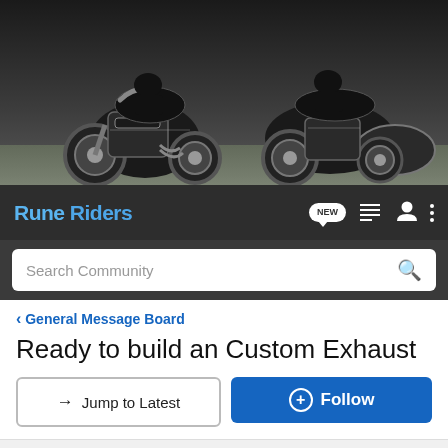[Figure (photo): Motorcycle banner image showing two motorcycles, dark background]
Rune Riders — navigation bar with NEW, list, user, and menu icons
Search Community
< General Message Board
Ready to build an Custom Exhaust
→ Jump to Latest
+ Follow
1 - 18 of 18 Posts
Vitki04 · Registered
Joined May 12, 2004 · 111 Posts